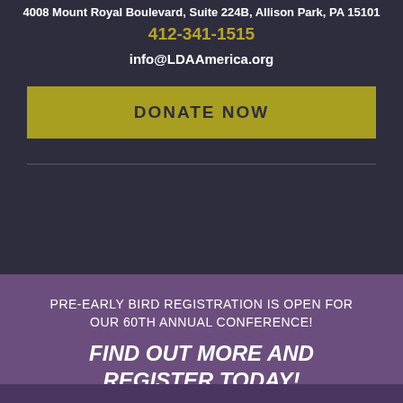4008 Mount Royal Boulevard, Suite 224B, Allison Park, PA 15101
412-341-1515
info@LDAAmerica.org
DONATE NOW
PRE-EARLY BIRD REGISTRATION IS OPEN FOR OUR 60TH ANNUAL CONFERENCE!
FIND OUT MORE AND REGISTER TODAY!